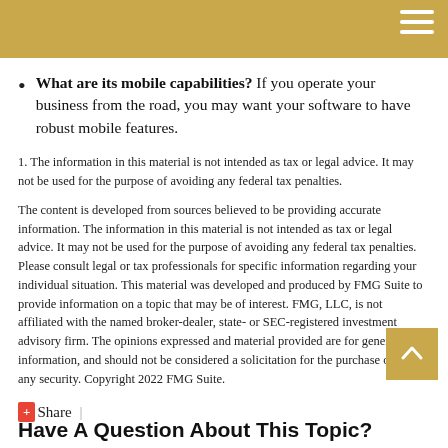What are its mobile capabilities? If you operate your business from the road, you may want your software to have robust mobile features.
1. The information in this material is not intended as tax or legal advice. It may not be used for the purpose of avoiding any federal tax penalties.
The content is developed from sources believed to be providing accurate information. The information in this material is not intended as tax or legal advice. It may not be used for the purpose of avoiding any federal tax penalties. Please consult legal or tax professionals for specific information regarding your individual situation. This material was developed and produced by FMG Suite to provide information on a topic that may be of interest. FMG, LLC, is not affiliated with the named broker-dealer, state- or SEC-registered investment advisory firm. The opinions expressed and material provided are for general information, and should not be considered a solicitation for the purchase or sale of any security. Copyright 2022 FMG Suite.
+ Share  |
Have A Question About This Topic?